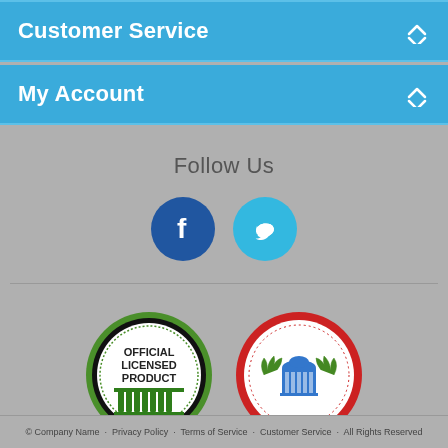Customer Service
My Account
Follow Us
[Figure (illustration): Facebook and Twitter social media icon buttons. Facebook: dark blue circle with white 'f' letter. Twitter: light blue circle with white bird icon.]
[Figure (logo): Two licensing badges: 'Official Licensed Product' badge (green/black circular seal with column icon) and 'Officially Licensed Collegiate Products' badge (red circular seal with column/laurel icon).]
© 2024 Company Name · Privacy Policy · Terms of Service · All Rights Reserved